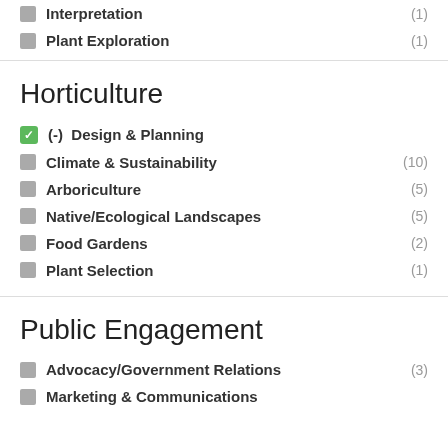Interpretation (1)
Plant Exploration (1)
Horticulture
(-) Design & Planning
Climate & Sustainability (10)
Arboriculture (5)
Native/Ecological Landscapes (5)
Food Gardens (2)
Plant Selection (1)
Public Engagement
Advocacy/Government Relations (3)
Marketing & Communications